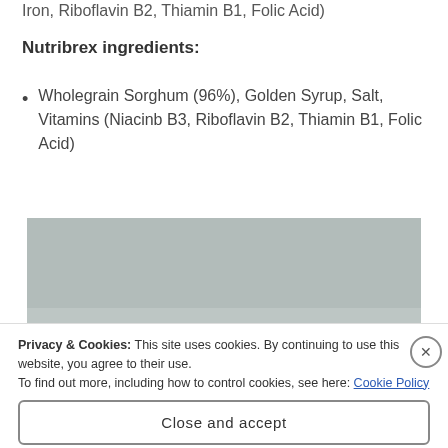Iron, Riboflavin B2, Thiamin B1, Folic Acid)
Nutribrex ingredients:
Wholegrain Sorghum (96%), Golden Syrup, Salt, Vitamins (Niacinb B3, Riboflavin B2, Thiamin B1, Folic Acid)
[Figure (photo): A grey/muted photograph partially visible, likely showing a food product]
Privacy & Cookies: This site uses cookies. By continuing to use this website, you agree to their use.
To find out more, including how to control cookies, see here: Cookie Policy
Close and accept